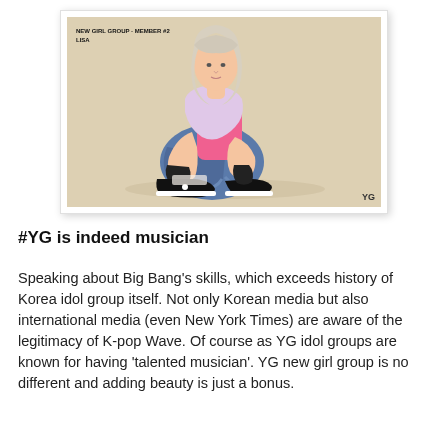[Figure (photo): Promotional photo of Lisa, a member of a new YG girl group. She is seated on the floor with silver/blonde hair, wearing a pink top, jeans, and black Converse sneakers. Text overlay reads 'NEW GIRL GROUP - MEMBER #2 / LISA'. YG logo in bottom right corner.]
#YG is indeed musician
Speaking about Big Bang's skills, which exceeds history of Korea idol group itself. Not only Korean media but also international media (even New York Times) are aware of the legitimacy of K-pop Wave. Of course as YG idol groups are known for having 'talented musician'. YG new girl group is no different and adding beauty is just a bonus.